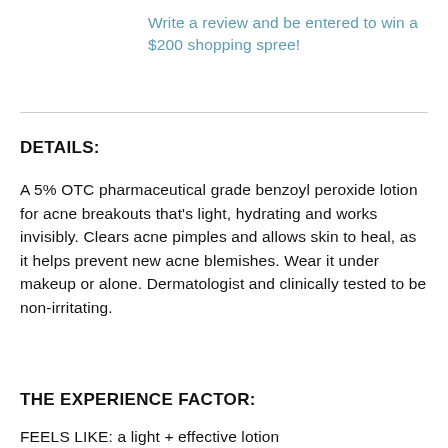Write a review and be entered to win a $200 shopping spree!
DETAILS:
A 5% OTC pharmaceutical grade benzoyl peroxide lotion for acne breakouts that's light, hydrating and works invisibly. Clears acne pimples and allows skin to heal, as it helps prevent new acne blemishes. Wear it under makeup or alone. Dermatologist and clinically tested to be non-irritating.
THE EXPERIENCE FACTOR:
FEELS LIKE: a light + effective lotion